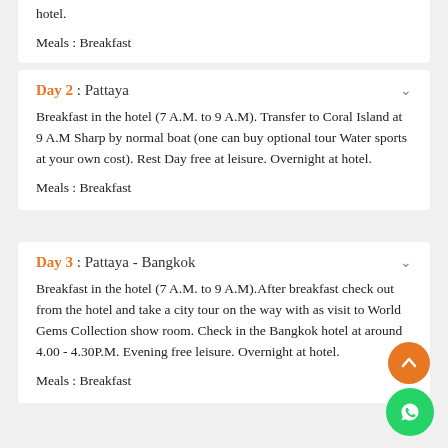hotel.
Meals : Breakfast
Day 2 :  Pattaya
Breakfast in the hotel (7 A.M. to 9 A.M). Transfer to Coral Island at 9 A.M Sharp by normal boat (one can buy optional tour Water sports at your own cost). Rest Day free at leisure. Overnight at hotel.
Meals : Breakfast
Day 3 :  Pattaya - Bangkok
Breakfast in the hotel (7 A.M. to 9 A.M).After breakfast check out from the hotel and take a city tour on the way with as visit to World Gems Collection show room. Check in the Bangkok hotel at around 4.00 - 4.30P.M. Evening free leisure. Overnight at hotel.
Meals : Breakfast